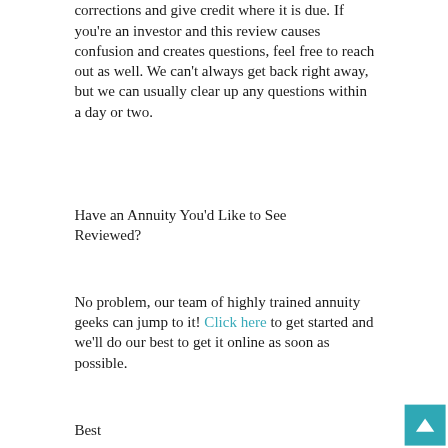corrections and give credit where it is due. If you're an investor and this review causes confusion and creates questions, feel free to reach out as well. We can't always get back right away, but we can usually clear up any questions within a day or two.
Have an Annuity You'd Like to See Reviewed?
No problem, our team of highly trained annuity geeks can jump to it! Click here to get started and we'll do our best to get it online as soon as possible.
Best